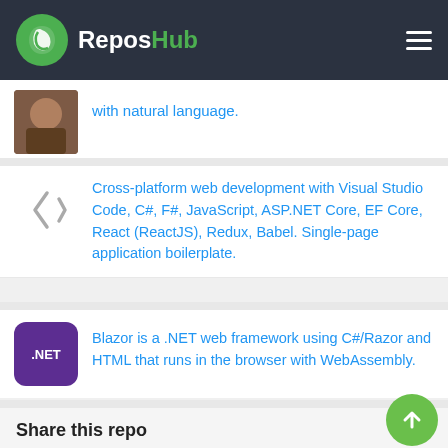ReposHub
with natural language.
Cross-platform web development with Visual Studio Code, C#, F#, JavaScript, ASP.NET Core, EF Core, React (ReactJS), Redux, Babel. Single-page application boilerplate.
Blazor is a .NET web framework using C#/Razor and HTML that runs in the browser with WebAssembly.
Share this repo
Social share buttons: Facebook, Twitter, Pinterest, Email, SMS, Share